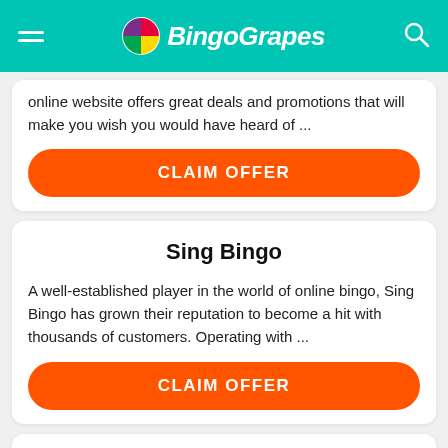BingoGrapes
online website offers great deals and promotions that will make you wish you would have heard of ...
CLAIM OFFER
Sing Bingo
A well-established player in the world of online bingo, Sing Bingo has grown their reputation to become a hit with thousands of customers. Operating with ...
CLAIM OFFER
Chit Chat Bingo